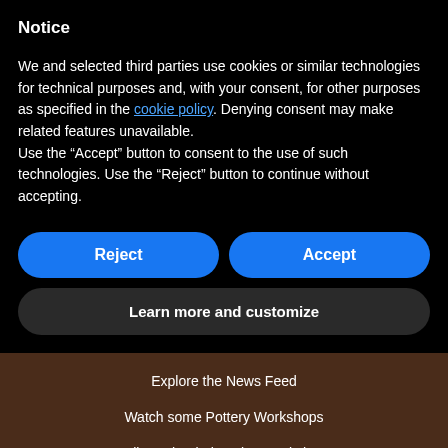Notice
We and selected third parties use cookies or similar technologies for technical purposes and, with your consent, for other purposes as specified in the cookie policy. Denying consent may make related features unavailable.
Use the “Accept” button to consent to the use of such technologies. Use the “Reject” button to continue without accepting.
Reject
Accept
Learn more and customize
Explore the News Feed
Watch some Pottery Workshops
Online Wheel Throwing Workshops
Online Handbuilding Workshops